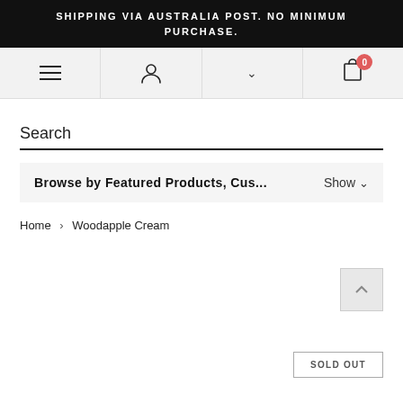SHIPPING VIA AUSTRALIA POST. NO MINIMUM PURCHASE.
[Figure (screenshot): Navigation bar with hamburger menu, user icon, search chevron, and shopping cart with badge showing 0]
Search
Browse by Featured Products, Cus... Show
Home > Woodapple Cream
SOLD OUT